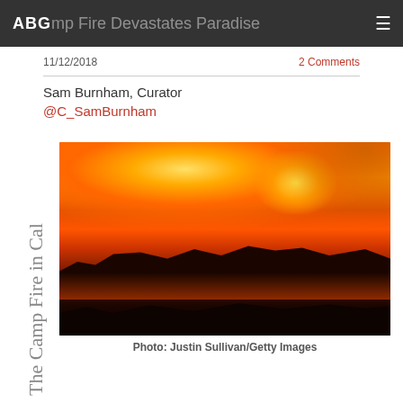ABG Camp Fire Devastates Paradise
11/12/2018
2 Comments
Sam Burnham, Curator
@C_SamBurnham
[Figure (photo): Aerial/landscape photo of the Camp Fire in California showing an intense orange-red glow of wildfire on a hillside at night with silhouetted trees and dark foreground vegetation]
Photo: Justin Sullivan/Getty Images
The Camp Fire in Cal